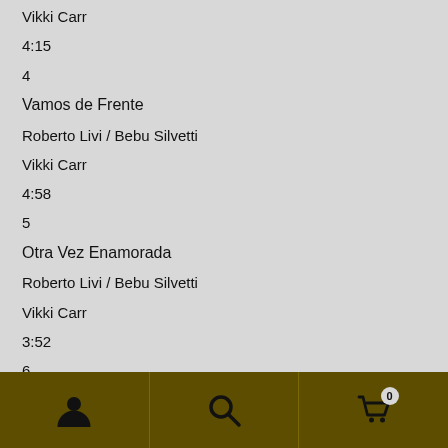Vikki Carr
4:15
4
Vamos de Frente
Roberto Livi / Bebu Silvetti
Vikki Carr
4:58
5
Otra Vez Enamorada
Roberto Livi / Bebu Silvetti
Vikki Carr
3:52
6
Best of Both Worlds
Roberto Livi / Bebu Silvetti
Navigation bar with user, search, and cart (0) icons